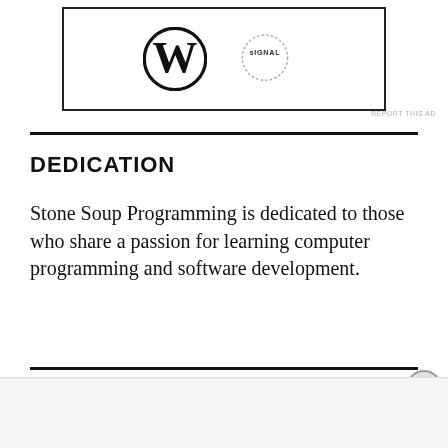[Figure (logo): WordPress logo (W in circle) and SIGNAL dotted circle logo inside a bordered box]
DEDICATION
Stone Soup Programming is dedicated to those who share a passion for learning computer programming and software development.
[Figure (photo): Macy's advertisement banner: KISS BORING LIPS GOODBYE with SHOP NOW button and Macys star logo on red background]